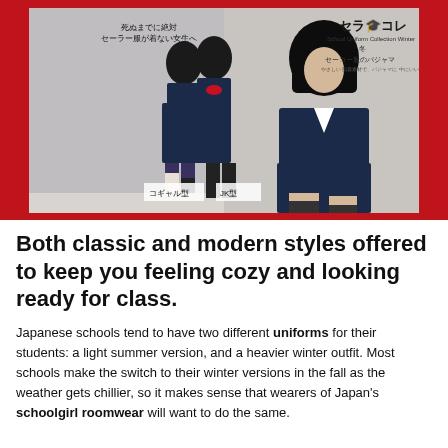[Figure (photo): Product advertisement image showing Japanese schoolgirl uniforms (sailor-style), with Japanese text overlay. Brand logo reads 'セラコレ School Uniform Collection Winter' with caption labels 'コギャル型' and 'JK型' at the bottom. Red borders frame the image.]
Both classic and modern styles offered to keep you feeling cozy and looking ready for class.
Japanese schools tend to have two different uniforms for their students: a light summer version, and a heavier winter outfit. Most schools make the switch to their winter versions in the fall as the weather gets chillier, so it makes sense that wearers of Japan's schoolgirl roomwear will want to do the same.